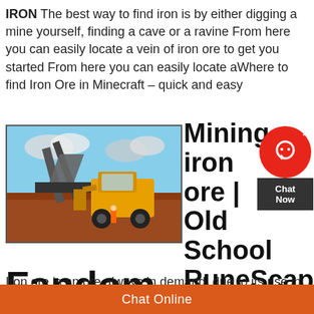IRON The best way to find iron is by either digging a mine yourself, finding a cave or a ravine From here you can easily locate a vein of iron ore to get you started From here you can easily locate aWhere to find Iron Ore in Minecraft – quick and easy
[Figure (photo): Industrial iron ore mining machinery — a large yellow front loader and conveyor/processing equipment on red dirt ground with a cloudy sky background]
Mining iron ore | Old School RuneScape Wiki | Fandom
[Figure (other): Live chat widget — red circle with headset icon and X button, dark box below with 'Chat Now' text]
Iron ore is an ore always in demand, due to its use in
Chat Online